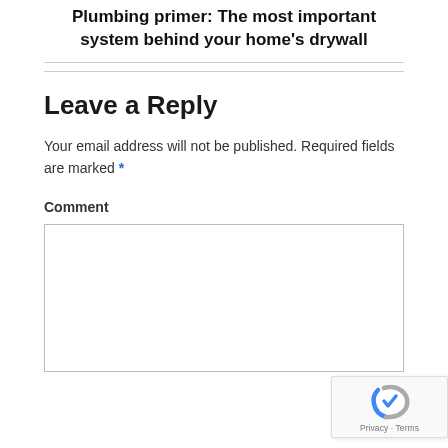Plumbing primer: The most important system behind your home's drywall
Leave a Reply
Your email address will not be published. Required fields are marked *
Comment
[Figure (other): reCAPTCHA badge with Privacy and Terms links]